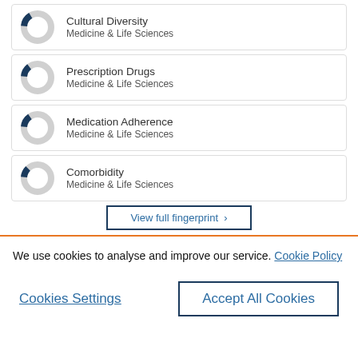[Figure (donut-chart): Small donut chart showing a small dark navy filled segment (~15%) for Cultural Diversity]
Cultural Diversity
Medicine & Life Sciences
[Figure (donut-chart): Small donut chart showing a small dark navy filled segment (~15%) for Prescription Drugs]
Prescription Drugs
Medicine & Life Sciences
[Figure (donut-chart): Small donut chart showing a small dark navy filled segment (~15%) for Medication Adherence]
Medication Adherence
Medicine & Life Sciences
[Figure (donut-chart): Small donut chart showing a small dark navy filled segment (~12%) for Comorbidity]
Comorbidity
Medicine & Life Sciences
View full fingerprint ›
We use cookies to analyse and improve our service. Cookie Policy
Cookies Settings
Accept All Cookies